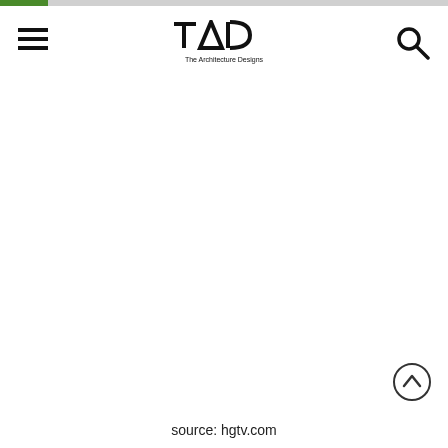TAD – The Architecture Designs
source: hgtv.com